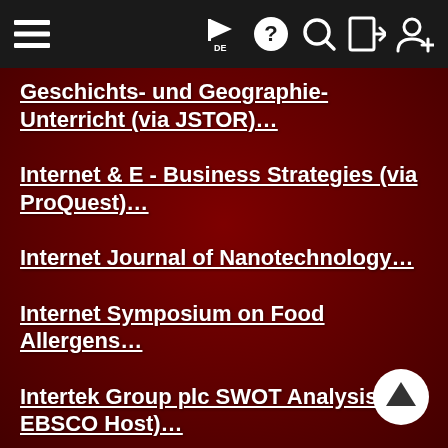Navigation bar with hamburger menu, flag DE, help, search, login, and user add icons
Geschichts- und Geographie-Unterricht (via JSTOR)...
Internet & E - Business Strategies (via ProQuest)...
Internet Journal of Nanotechnology...
Internet Symposium on Food Allergens...
Intertek Group plc SWOT Analysis (via EBSCO Host)...